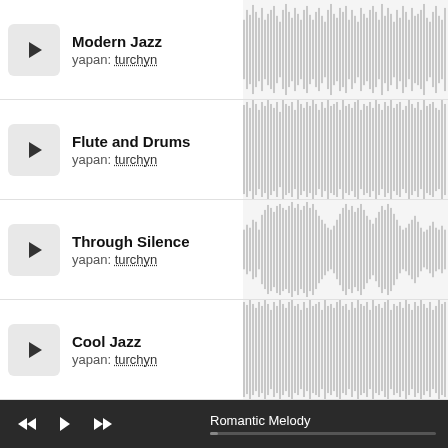Modern Jazz — yapan: turchyn
[Figure (other): Audio waveform for Modern Jazz track]
Flute and Drums — yapan: turchyn
[Figure (other): Audio waveform for Flute and Drums track]
Through Silence — yapan: turchyn
[Figure (other): Audio waveform for Through Silence track]
Cool Jazz — yapan: turchyn
[Figure (other): Audio waveform for Cool Jazz track]
Romantic Melody